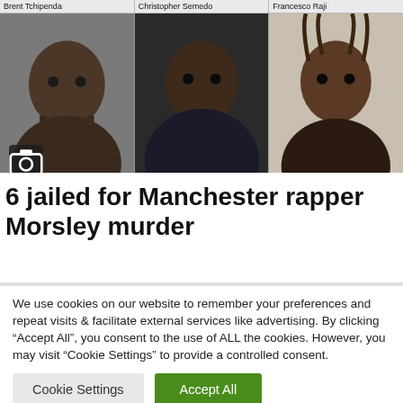[Figure (photo): A 3-column grid of mugshot-style police photos showing six individuals. Top row names: Brent Tchipenda, Christopher Semedo, Francesco Raji. Bottom row names: Octavio Antonio, Ismiel Correia, Nelson Correia. A camera icon overlay is visible in the bottom-left of the image.]
6 jailed for Manchester rapper Morsley murder
We use cookies on our website to remember your preferences and repeat visits & facilitate external services like advertising. By clicking “Accept All”, you consent to the use of ALL the cookies. However, you may visit “Cookie Settings” to provide a controlled consent.